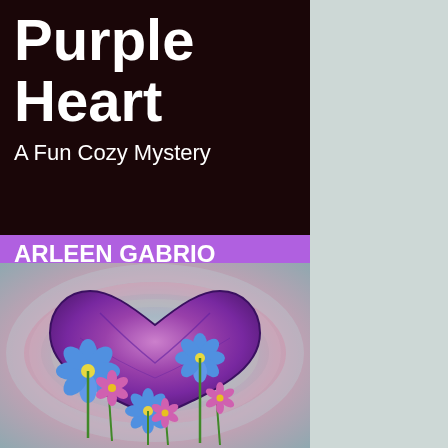Missing Purple Heart
A Fun Cozy Mystery
ARLEEN GABRIO
[Figure (illustration): Book cover illustration showing a large purple heart with a marbled texture, surrounded by blue and pink daisy-like flowers with green stems, against a swirling metallic background in silver, pink, and teal tones.]